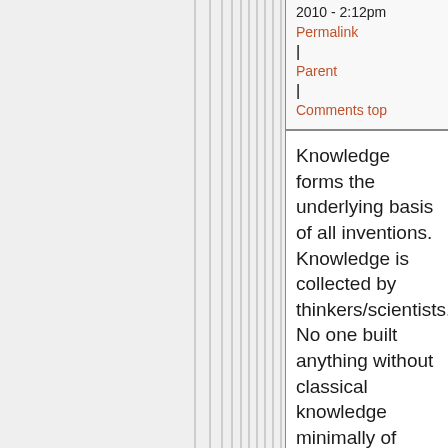2010 - 2:12pm
Permalink | Parent | Comments top
Knowledge forms the underlying basis of all inventions. Knowledge is collected by thinkers/scientists. No one built anything without classical knowledge minimally of basic physics, chemistry and math.
I think it is part of this new political